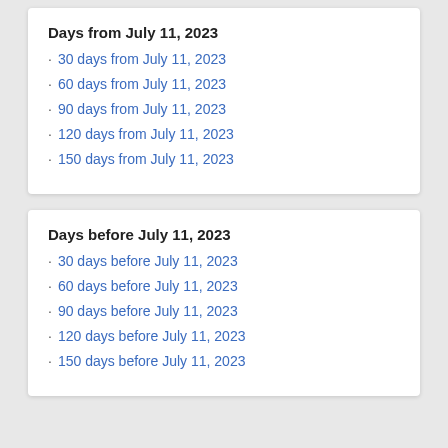Days from July 11, 2023
30 days from July 11, 2023
60 days from July 11, 2023
90 days from July 11, 2023
120 days from July 11, 2023
150 days from July 11, 2023
Days before July 11, 2023
30 days before July 11, 2023
60 days before July 11, 2023
90 days before July 11, 2023
120 days before July 11, 2023
150 days before July 11, 2023